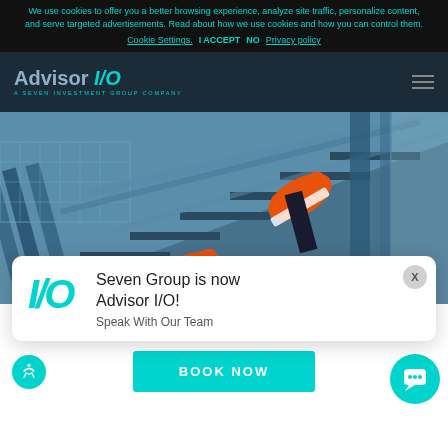We use cookies to offer you a better browsing experience, analyze site traffic, personalize content, and serve targeted advertisements. Read about how we use cookies and how you can control them.
Cookie Settings.   I ACCEPT   NO   Privacy policy
[Figure (logo): Advisor I/O logo with tagline 'A SEVEN INVESTMENT GROUP COMPANY' on dark navy navigation bar]
[Figure (photo): Person climbing blue metal stairs wearing orange sneakers, viewed from below]
Seven Group is now Advisor I/O! Speak With Our Team
BOOK NOW